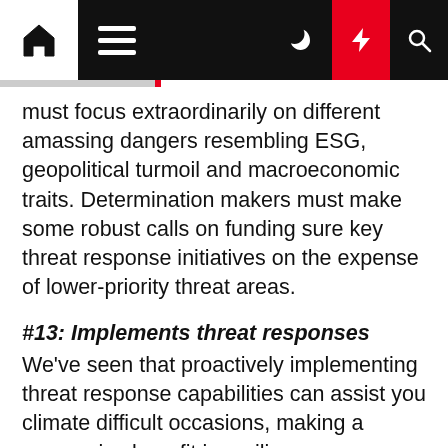Navigation bar with home, menu, dark mode, lightning/highlight, and search icons
must focus extraordinarily on different amassing dangers resembling ESG, geopolitical turmoil and macroeconomic traits. Determination makers must make some robust calls on funding sure key threat response initiatives on the expense of lower-priority threat areas.
#13: Implements threat responses
We've seen that proactively implementing threat response capabilities can assist you climate difficult occasions, making a aggressive benefit in resilience, productiveness and customer support.
Organizations must replace and revitalize outdated enterprise continuity plans, however they need to additionally go additional. Proactive organizations ought to get unbiased